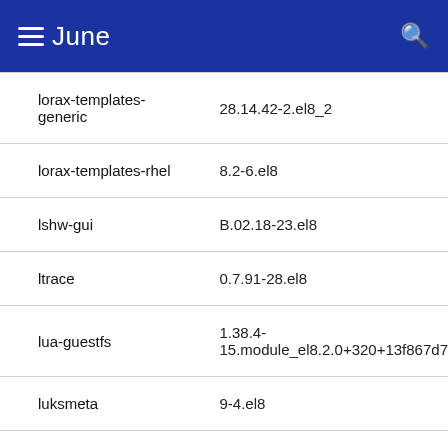June
| Package | Version |
| --- | --- |
| lorax-templates-generic | 28.14.42-2.el8_2 |
| lorax-templates-rhel | 8.2-6.el8 |
| lshw-gui | B.02.18-23.el8 |
| ltrace | 0.7.91-28.el8 |
| lua-guestfs | 1.38.4-15.module_el8.2.0+320+13f867d7 |
| luksmeta | 9-4.el8 |